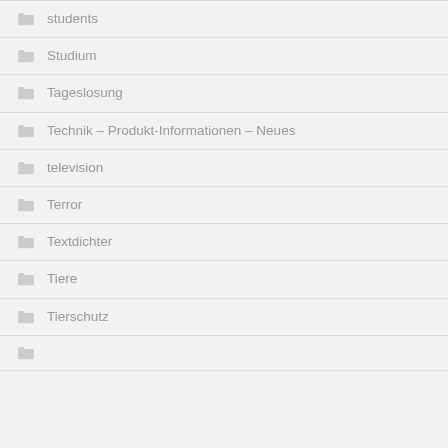students
Studium
Tageslosung
Technik – Produkt-Informationen – Neues
television
Terror
Textdichter
Tiere
Tierschutz
Tiere...